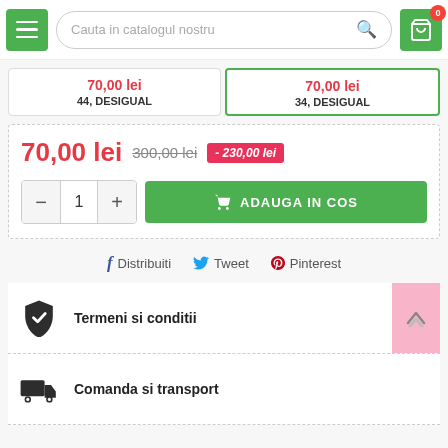Cauta in catalogul nostru
70,00 lei   44, DESIGUAL
70,00 lei   34, DESIGUAL
70,00 lei   300,00 lei   - 230,00 lei
ADAUGA IN COS
Distribuiti   Tweet   Pinterest
Termeni si conditii
Comanda si transport